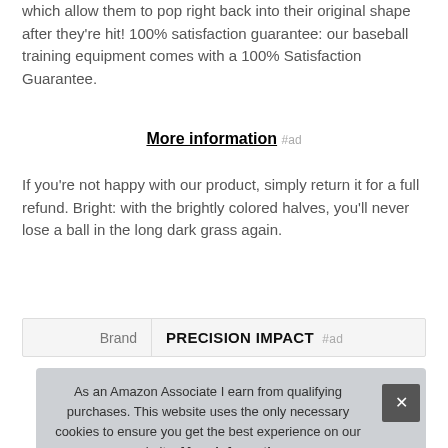which allow them to pop right back into their original shape after they're hit! 100% satisfaction guarantee: our baseball training equipment comes with a 100% Satisfaction Guarantee.
More information #ad
If you're not happy with our product, simply return it for a full refund. Bright: with the brightly colored halves, you'll never lose a ball in the long dark grass again.
| Brand | PRECISION IMPACT #ad |
| --- | --- |
As an Amazon Associate I earn from qualifying purchases. This website uses the only necessary cookies to ensure you get the best experience on our website. More information